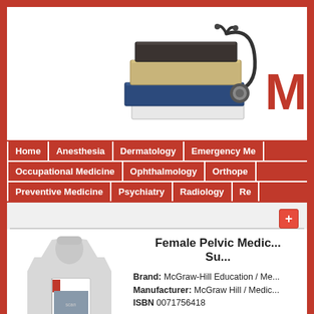[Figure (photo): Stack of medical textbooks with a stethoscope on top]
M
Home | Anesthesia | Dermatology | Emergency Me...
Occupational Medicine | Ophthalmology | Orthope...
Preventive Medicine | Psychiatry | Radiology | Re...
[Figure (photo): Book product placeholder image with a small medical scan inset]
Female Pelvic Medic... Su...
Brand: McGraw-Hill Education / Me...
Manufacturer: McGraw Hill / Medic...
ISBN 0071756418